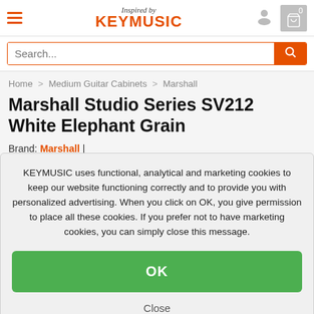Inspired by KEYMUSIC
Search...
Home > Medium Guitar Cabinets > Marshall
Marshall Studio Series SV212 White Elephant Grain
Brand: Marshall |
KEYMUSIC uses functional, analytical and marketing cookies to keep our website functioning correctly and to provide you with personalized advertising. When you click on OK, you give permission to place all these cookies. If you prefer not to have marketing cookies, you can simply close this message.
OK
Close